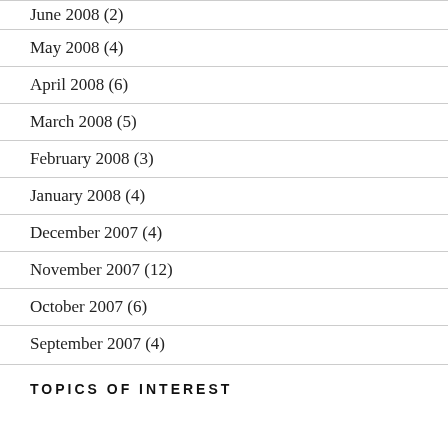June 2008 (2)
May 2008 (4)
April 2008 (6)
March 2008 (5)
February 2008 (3)
January 2008 (4)
December 2007 (4)
November 2007 (12)
October 2007 (6)
September 2007 (4)
TOPICS OF INTEREST